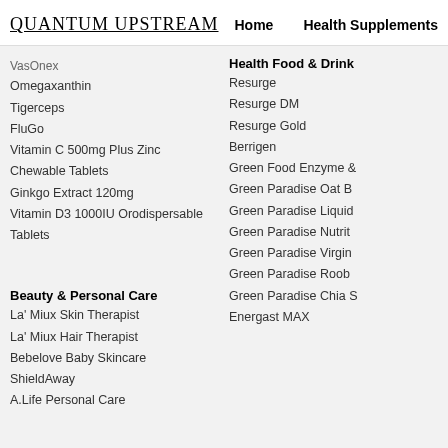QUANTUM UPSTREAM | Home | Health Supplements
VasOnex
Omegaxanthin
Tigerceps
FluGo
Vitamin C 500mg Plus Zinc Chewable Tablets
Ginkgo Extract 120mg
Vitamin D3 1000IU Orodispersable Tablets
Beauty & Personal Care
La' Miux Skin Therapist
La' Miux Hair Therapist
Bebelove Baby Skincare
ShieldAway
A.Life Personal Care
Health Food & Drink
Resurge
Resurge DM
Resurge Gold
Berrigen
Green Food Enzyme &…
Green Paradise Oat B…
Green Paradise Liquid…
Green Paradise Nutrit…
Green Paradise Virgin…
Green Paradise Roob…
Green Paradise Chia S…
Energast MAX